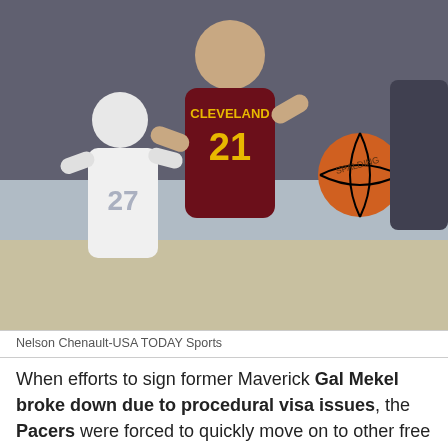[Figure (photo): Basketball player wearing Cleveland #21 jersey in dark red/maroon dribbling the ball, with a Memphis player #27 in white uniform defending, during an NBA game.]
Nelson Chenault-USA TODAY Sports
When efforts to sign former Maverick Gal Mekel broke down due to procedural visa issues, the Pacers were forced to quickly move on to other free agent guard options before their league granted hardship exception expired Thursday: